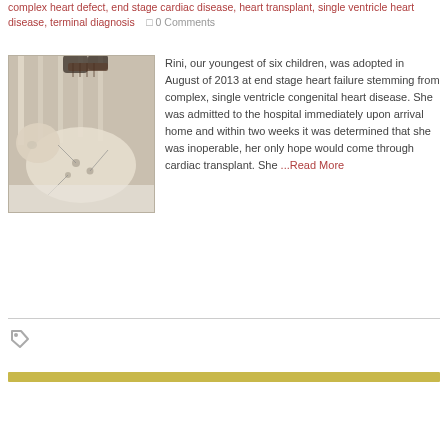complex heart defect, end stage cardiac disease, heart transplant, single ventricle heart disease, terminal diagnosis   0 Comments
[Figure (photo): Black and white photo of a baby lying in a hospital crib with medical monitoring leads attached to the chest, and an adult's hands visible at top holding what appears to be a small instrument.]
Rini, our youngest of six children, was adopted in August of 2013 at end stage heart failure stemming from complex, single ventricle congenital heart disease. She was admitted to the hospital immediately upon arrival home and within two weeks it was determined that she was inoperable, her only hope would come through cardiac transplant. She ...Read More